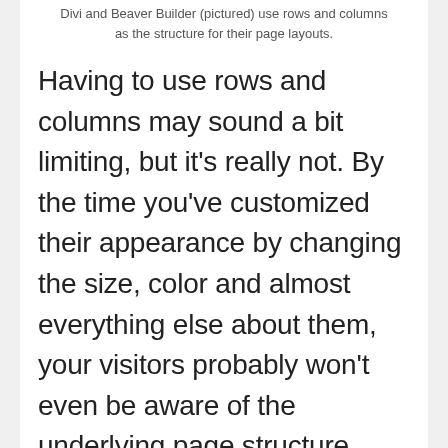Divi and Beaver Builder (pictured) use rows and columns as the structure for their page layouts.
Having to use rows and columns may sound a bit limiting, but it's really not. By the time you've customized their appearance by changing the size, color and almost everything else about them, your visitors probably won't even be aware of the underlying page structure.
[Figure (screenshot): Screenshot of a page builder interface showing 'Design / Branding Examples' heading with a toolbar at top, an image gallery placeholder on the left, and a content editing panel on the right with 'Curabitur quis' text.]